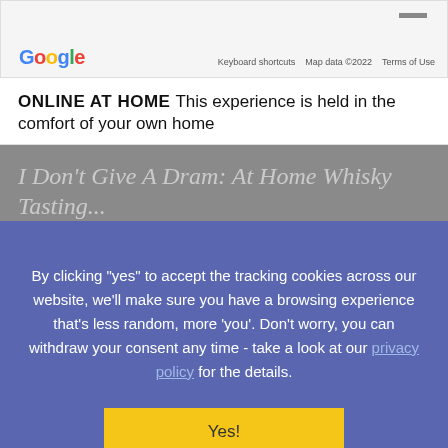[Figure (screenshot): Google Maps partial view with minimize button, Google logo, and map attribution links (Keyboard shortcuts, Map data ©2022, Terms of Use)]
ONLINE AT HOME This experience is held in the comfort of your own home
I Don't Give A Dram: At Home Whisky Tasting...
By clicking "yes" to accept the tracking cookies across our website, we'll make sure you have a browsing experience that's less random, more 'you'. Don't worry, you can withdraw your consent any time - take a look at our privacy policy for the details.
Yes!